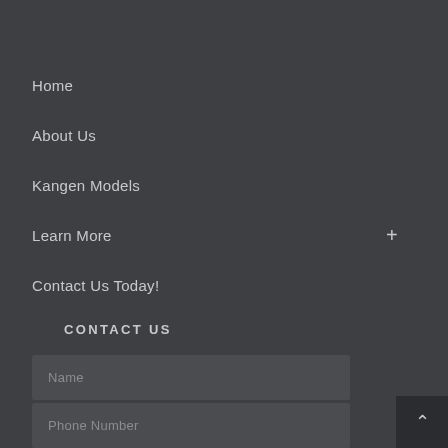Home
About Us
Kangen Models
Learn More
Contact Us Today!
CONTACT US
Name
Phone Number
Email